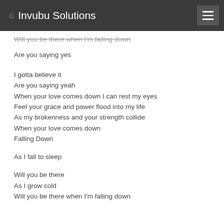Invubu Solutions
Will you be there when I'm falling down

Are you saying yes

I gotta believe it
Are you saying yeah
When your love comes down I can rest my eyes
Feel your grace and power flood into my life
As my brokenness and your strength collide
When your love comes down
Falling Down

As I fall to sleep

Will you be there
As I grow cold
Will you be there when I'm falling down